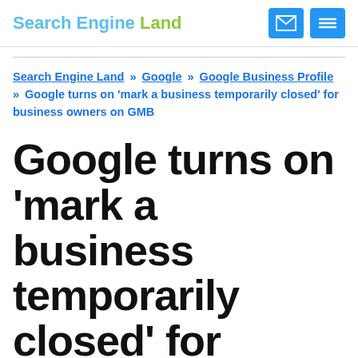Search Engine Land
Search Engine Land » Google » Google Business Profile » Google turns on 'mark a business temporarily closed' for business owners on GMB
Google turns on 'mark a business temporarily closed' for business owners on GMB